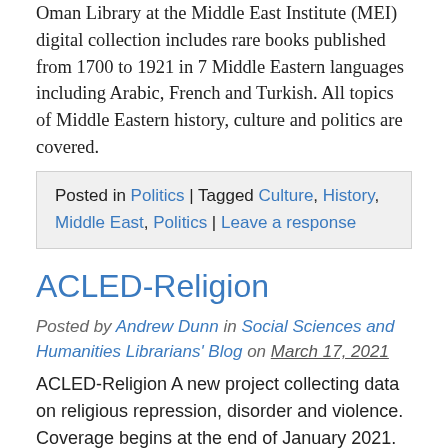Oman Library at the Middle East Institute (MEI) digital collection includes rare books published from 1700 to 1921 in 7 Middle Eastern languages including Arabic, French and Turkish. All topics of Middle Eastern history, culture and politics are covered.
Posted in Politics | Tagged Culture, History, Middle East, Politics | Leave a response
ACLED-Religion
Posted by Andrew Dunn in Social Sciences and Humanities Librarians' Blog on March 17, 2021
ACLED-Religion A new project collecting data on religious repression, disorder and violence. Coverage begins at the end of January 2021. The pilot project currently collects real-time data on seven countries in the Middle East and North Africa: Bahrain, Egypt, Iran, Iraq, Israel, Palestine, and Yemen. Building off ACLED's core methodology for monitoring global political violence and [...]